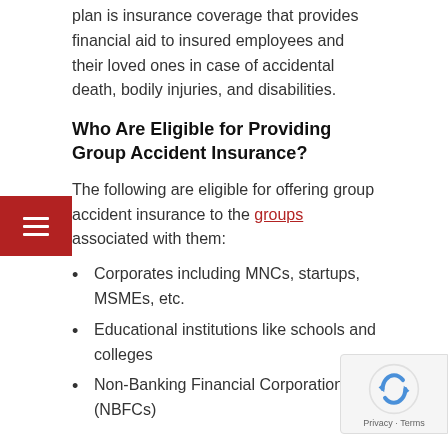plan is insurance coverage that provides financial aid to insured employees and their loved ones in case of accidental death, bodily injuries, and disabilities.
Who Are Eligible for Providing Group Accident Insurance?
The following are eligible for offering group accident insurance to the groups associated with them:
Corporates including MNCs, startups, MSMEs, etc.
Educational institutions like schools and colleges
Non-Banking Financial Corporations (NBFCs)